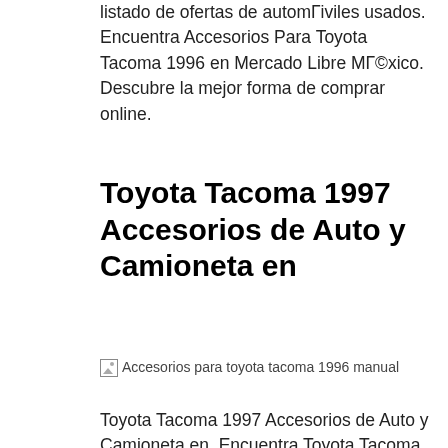listado de ofertas de automГiviles usados. Encuentra Accesorios Para Toyota Tacoma 1996 en Mercado Libre МГ©xico. Descubre la mejor forma de comprar online.
Toyota Tacoma 1997 Accesorios de Auto y Camioneta en
[Figure (photo): Broken image placeholder with alt text: Accesorios para toyota tacoma 1996 manual]
Toyota Tacoma 1997 Accesorios de Auto y Camioneta en. Encuentra Toyota Tacoma 1996 Cabina Ymedia - Accesorios de Auto y Camioneta en